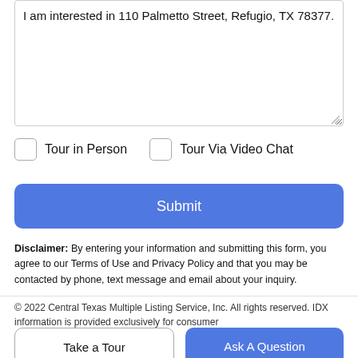I am interested in 110 Palmetto Street, Refugio, TX 78377.
Tour in Person
Tour Via Video Chat
Submit
Disclaimer: By entering your information and submitting this form, you agree to our Terms of Use and Privacy Policy and that you may be contacted by phone, text message and email about your inquiry.
© 2022 Central Texas Multiple Listing Service, Inc. All rights reserved. IDX information is provided exclusively for consumer
Take a Tour
Ask A Question